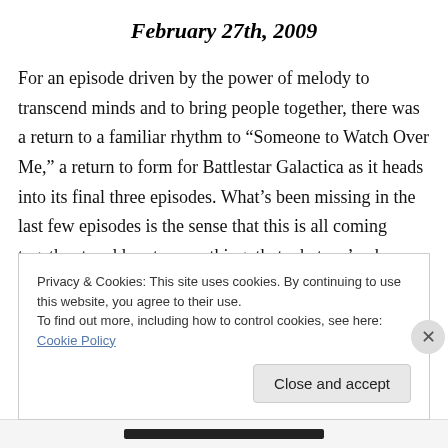February 27th, 2009
For an episode driven by the power of melody to transcend minds and to bring people together, there was a return to a familiar rhythm to “Someone to Watch Over Me,” a return to form for Battlestar Galactica as it heads into its final three episodes. What’s been missing in the last few episodes is the sense that this is all coming together to add up to something, that what we’ve been seeing and the answers we’ve been searching for have been worth our time. While, perhaps, the content of “No
Privacy & Cookies: This site uses cookies. By continuing to use this website, you agree to their use.
To find out more, including how to control cookies, see here: Cookie Policy